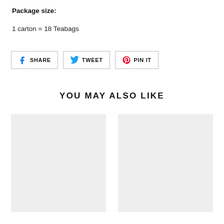Package size:
1 carton = 18 Teabags
[Figure (infographic): Social sharing buttons: Facebook SHARE, Twitter TWEET, Pinterest PIN IT]
YOU MAY ALSO LIKE
[Figure (photo): Empty product card placeholder (light gray background)]
[Figure (photo): Empty product card placeholder (light gray background)]